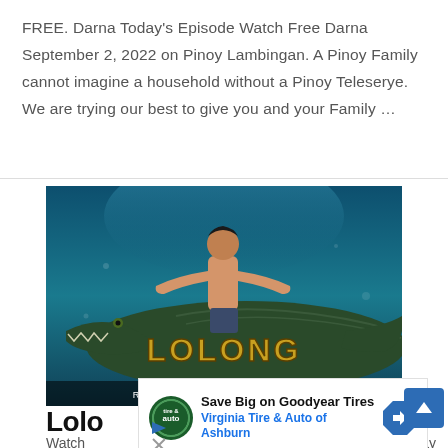FREE. Darna Today's Episode Watch Free Darna September 2, 2022 on Pinoy Lambingan. A Pinoy Family cannot imagine a household without a Pinoy Teleserye. We are trying our best to give you and your Family …
[Figure (photo): Promotional image for the Philippine TV series 'Lolong' on GMA Telebabad. A shirtless muscular man stands with arms spread wide in front of a large crocodile, both submerged in teal-blue water. Gold stylized text 'LOLONG' appears at the bottom, with text 'RISING JULY 4 GMA Telebabad'.]
Lolo
Watch
Stay
[Figure (infographic): Advertisement overlay: 'Save Big on Goodyear Tires / Virginia Tire & Auto of Ashburn' with Tire & Auto logo and a blue direction arrow icon.]